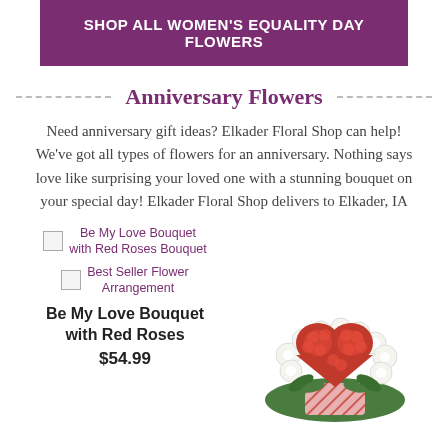SHOP ALL WOMEN'S EQUALITY DAY FLOWERS
Anniversary Flowers
Need anniversary gift ideas? Elkader Floral Shop can help! We've got all types of flowers for an anniversary. Nothing says love like surprising your loved one with a stunning bouquet on your special day! Elkader Floral Shop delivers to Elkader, IA
[Figure (photo): Broken image placeholder labeled 'Be My Love Bouquet with Red Roses Bouquet']
[Figure (photo): Broken image placeholder labeled 'Best Seller Flower Arrangement']
Be My Love Bouquet with Red Roses
$54.99
[Figure (photo): Heart-shaped red carnation bouquet arrangement with white flower border on a red patterned vase]